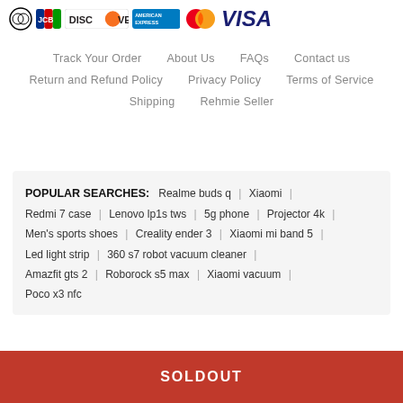[Figure (logo): Payment method logos: Diners Club, JCB, Discover, American Express, Mastercard, Visa]
Track Your Order   About Us   FAQs   Contact us
Return and Refund Policy   Privacy Policy   Terms of Service
Shipping   Rehmie Seller
POPULAR SEARCHES: Realme buds q | Xiaomi | Redmi 7 case | Lenovo lp1s tws | 5g phone | Projector 4k | Men's sports shoes | Creality ender 3 | Xiaomi mi band 5 | Led light strip | 360 s7 robot vacuum cleaner | Amazfit gts 2 | Roborock s5 max | Xiaomi vacuum | Poco x3 nfc
SOLDOUT